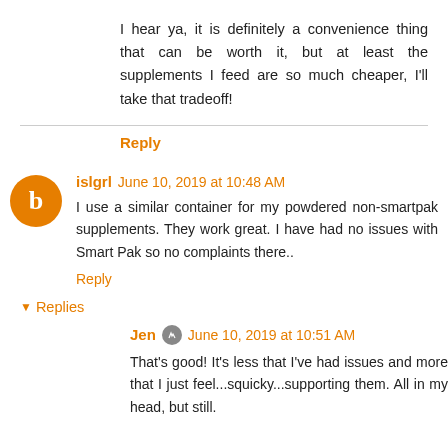I hear ya, it is definitely a convenience thing that can be worth it, but at least the supplements I feed are so much cheaper, I'll take that tradeoff!
Reply
islgrl  June 10, 2019 at 10:48 AM
I use a similar container for my powdered non-smartpak supplements. They work great. I have had no issues with Smart Pak so no complaints there..
Reply
▼ Replies
Jen  June 10, 2019 at 10:51 AM
That's good! It's less that I've had issues and more that I just feel...squicky...supporting them. All in my head, but still.